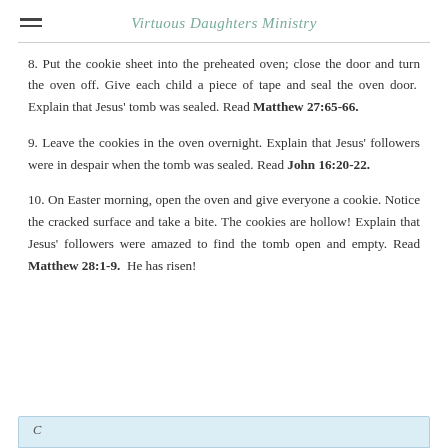Virtuous Daughters Ministry
8. Put the cookie sheet into the preheated oven; close the door and turn the oven off. Give each child a piece of tape and seal the oven door. Explain that Jesus' tomb was sealed. Read Matthew 27:65-66.
9. Leave the cookies in the oven overnight. Explain that Jesus' followers were in despair when the tomb was sealed. Read John 16:20-22.
10. On Easter morning, open the oven and give everyone a cookie. Notice the cracked surface and take a bite. The cookies are hollow! Explain that Jesus' followers were amazed to find the tomb open and empty. Read Matthew 28:1-9. He has risen!